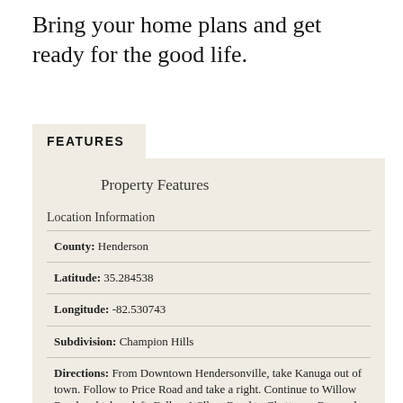Bring your home plans and get ready for the good life.
FEATURES
Property Features
Location Information
County: Henderson
Latitude: 35.284538
Longitude: -82.530743
Subdivision: Champion Hills
Directions: From Downtown Hendersonville, take Kanuga out of town. Follow to Price Road and take a right. Continue to Willow Road and take a left. Follow Willow Road to Chattooga Run and take a right. Follow to Blackgum Court, the second right. Follow to end of Cul-de-Sac. Lot is on the right. No sign. Please take a